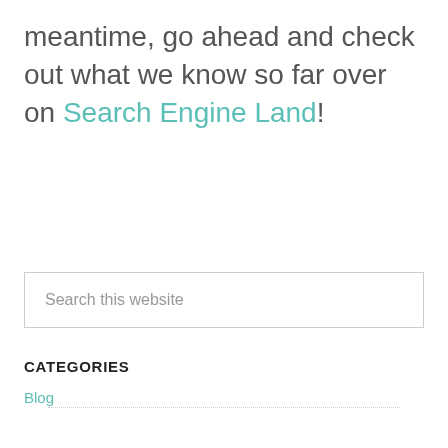meantime, go ahead and check out what we know so far over on Search Engine Land!
Search this website
CATEGORIES
Blog